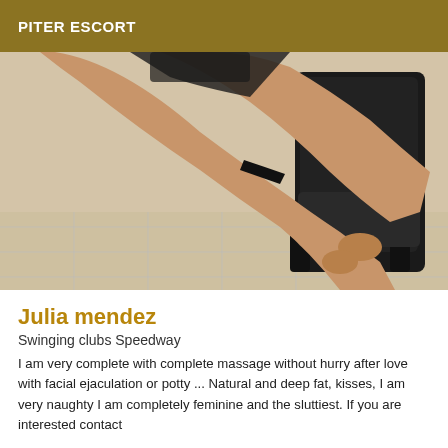PITER ESCORT
[Figure (photo): Legs of a woman near a black chair, close-up photo]
Julia mendez
Swinging clubs Speedway
I am very complete with complete massage without hurry after love with facial ejaculation or potty ... Natural and deep fat, kisses, I am very naughty I am completely feminine and the sluttiest. If you are interested contact